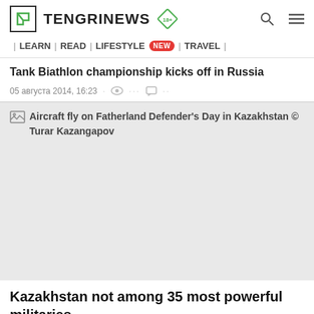TENGRINEWS 18+
| LEARN | READ | LIFESTYLE NEW | TRAVEL |
Tank Biathlon championship kicks off in Russia
05 августа 2014, 16:23
[Figure (photo): Aircraft fly on Fatherland Defender's Day in Kazakhstan © Turar Kazangapov]
Aircraft fly on Fatherland Defender's Day in Kazakhstan © Turar Kazangapov
Kazakhstan not among 35 most powerful militaries
01 августа 2014, 14:24